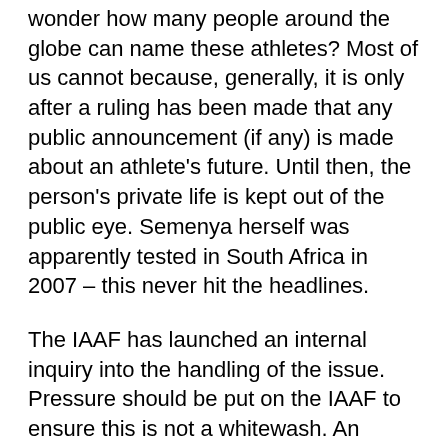wonder how many people around the globe can name these athletes? Most of us cannot because, generally, it is only after a ruling has been made that any public announcement (if any) is made about an athlete's future. Until then, the person's private life is kept out of the public eye. Semenya herself was apparently tested in South Africa in 2007 – this never hit the headlines.
The IAAF has launched an internal inquiry into the handling of the issue. Pressure should be put on the IAAF to ensure this is not a whitewash. An understanding of how this mess happened and who was responsible, and strategies to minimise its continuing impact on Semenya are needed. The emotional damage to her by the IAAF's actions and how this can be rectified should also be considered.